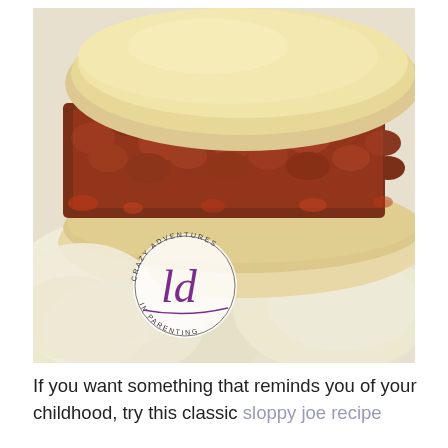[Figure (photo): Close-up photo of a sloppy joe sandwich with seasoned meat filling on a hamburger bun, served with potato chips on a white plate. A circular logo reading 'Crazy Adventures in Parenting' with stylized 'ld' initials in purple is overlaid on the lower left of the photo.]
If you want something that reminds you of your childhood, try this classic sloppy joe recipe.